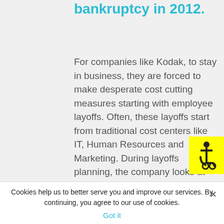bankruptcy in 2012.
For companies like Kodak, to stay in business, they are forced to make desperate cost cutting measures starting with employee layoffs. Often, these layoffs start from traditional cost centers like IT, Human Resources and Marketing. During layoffs planning, the company looks at departments that are unable to prove return on investment (ROI) and are adding to the cost of running a company...
Cookies help us to better serve you and improve our services. By continuing, you agree to our use of cookies.
Got it